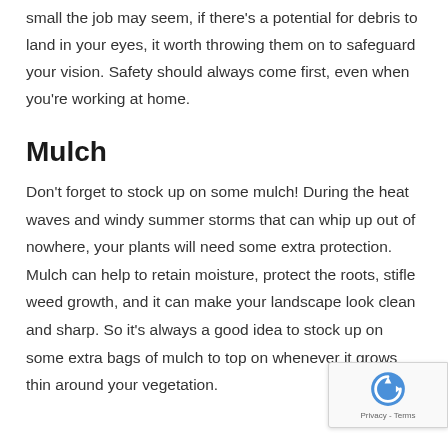small the job may seem, if there's a potential for debris to land in your eyes, it worth throwing them on to safeguard your vision. Safety should always come first, even when you're working at home.
Mulch
Don't forget to stock up on some mulch! During the heat waves and windy summer storms that can whip up out of nowhere, your plants will need some extra protection. Mulch can help to retain moisture, protect the roots, stifle weed growth, and it can make your landscape look clean and sharp. So it's always a good idea to stock up on some extra bags of mulch to top on whenever it grows thin around your vegetation.